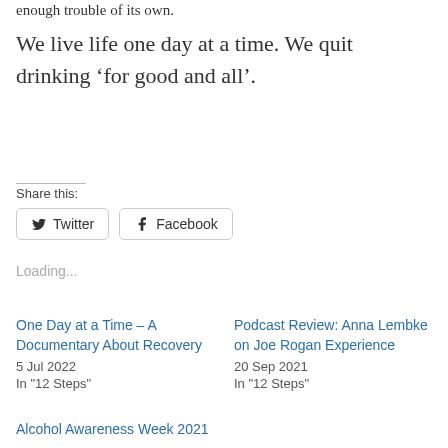enough trouble of its own.
We live life one day at a time. We quit drinking ‘for good and all’.
Share this:
Twitter   Facebook
Loading...
One Day at a Time – A Documentary About Recovery
5 Jul 2022
In "12 Steps"
Podcast Review: Anna Lembke on Joe Rogan Experience
20 Sep 2021
In "12 Steps"
Alcohol Awareness Week 2021